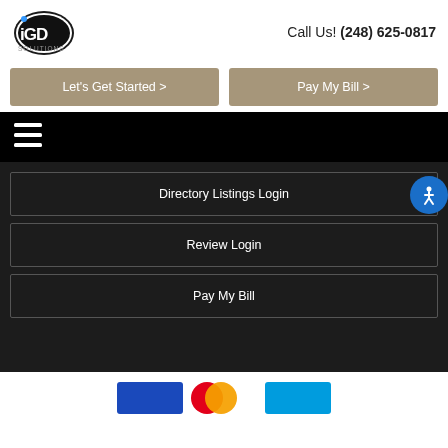[Figure (logo): IGD Solutions logo — circular badge with 'iGD' text and 'SOLUTIONS' below]
Call Us! (248) 625-0817
Let's Get Started >
Pay My Bill >
[Figure (other): Hamburger navigation menu icon (three white horizontal lines on black background)]
Directory Listings Login
Review Login
Pay My Bill
[Figure (other): Payment method logos: Visa (blue), Mastercard (red/orange circles), and a teal/blue card logo]